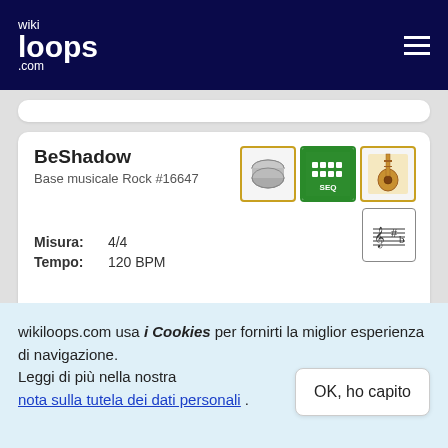wikiloops.com
BeShadow
Base musicale Rock #16647
Misura: 4/4
Tempo: 120 BPM
Tonal Mesh Bytes (w fretless bass)
Base musicale Rock #137861
wikiloops.com usa i Cookies per fornirti la miglior esperienza di navigazione.
Leggi di più nella nostra nota sulla tutela dei dati personali .